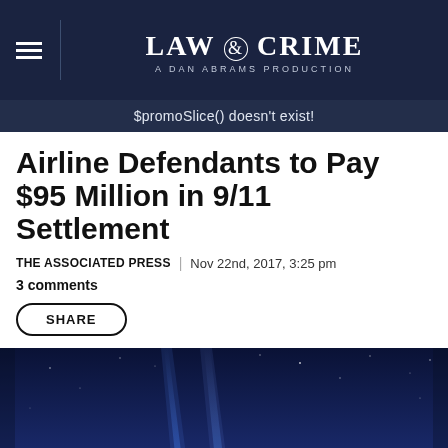LAW & CRIME — A DAN ABRAMS PRODUCTION
$promoSlice() doesn't exist!
Airline Defendants to Pay $95 Million in 9/11 Settlement
THE ASSOCIATED PRESS | Nov 22nd, 2017, 3:25 pm
3 comments
SHARE
[Figure (photo): Night photo of New York City skyline with two blue memorial beams of light shooting upward into the night sky, representing the Tribute in Light 9/11 memorial.]